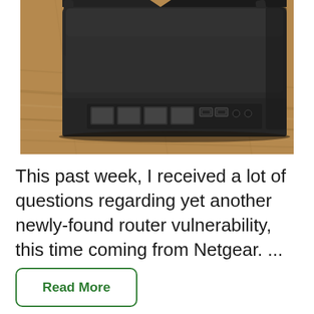[Figure (photo): Close-up photo of a black Netgear router showing its rear ports including Ethernet LAN ports and USB ports, placed on a wooden surface.]
This past week, I received a lot of questions regarding yet another newly-found router vulnerability, this time coming from Netgear. ...
Read More